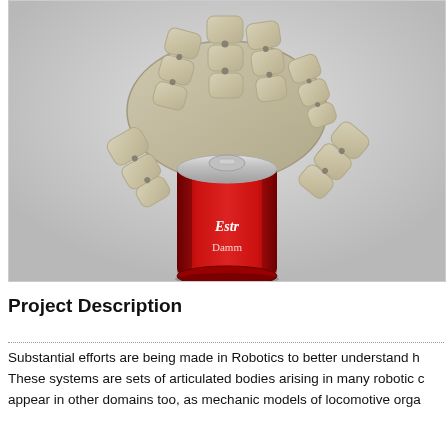[Figure (photo): A robotic hand (tan/beige colored, articulated mechanical fingers) grasping a red Estrella Damm beer can from above. The robot hand has segmented finger joints and the can has a silver pull-tab top. Background is light gray.]
Project Description
Substantial efforts are being made in Robotics to better understand h These systems are sets of articulated bodies arising in many robotic c appear in other domains too, as mechanic models of locomotive orga